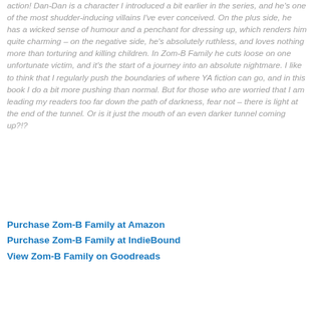action! Dan-Dan is a character I introduced a bit earlier in the series, and he's one of the most shudder-inducing villains I've ever conceived. On the plus side, he has a wicked sense of humour and a penchant for dressing up, which renders him quite charming – on the negative side, he's absolutely ruthless, and loves nothing more than torturing and killing children. In Zom-B Family he cuts loose on one unfortunate victim, and it's the start of a journey into an absolute nightmare. I like to think that I regularly push the boundaries of where YA fiction can go, and in this book I do a bit more pushing than normal. But for those who are worried that I am leading my readers too far down the path of darkness, fear not – there is light at the end of the tunnel. Or is it just the mouth of an even darker tunnel coming up?!?
Purchase Zom-B Family at Amazon
Purchase Zom-B Family at IndieBound
View Zom-B Family on Goodreads